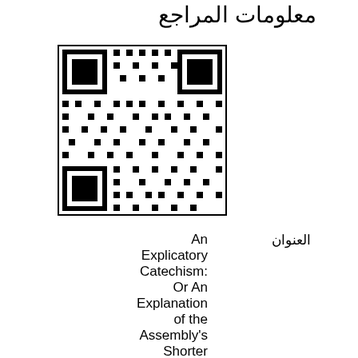معلومات المراجع
[Figure (other): QR code image linking to a resource about An Explicatory Catechism]
| العنوان | القيمة |
| --- | --- |
| العنوان | An Explicatory Catechism: Or An Explanation of the Assembly's Shorter Catechism ... |
| المؤلف | Thomas Vincent |
| الإصدار | معاد طباعته |